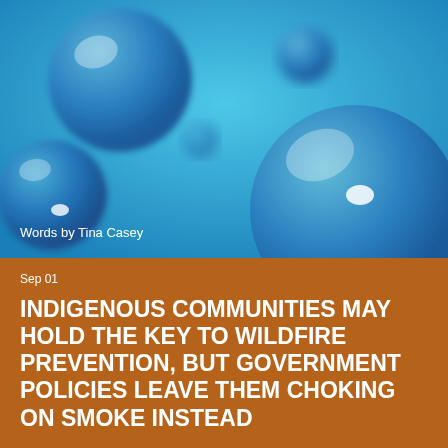[Figure (photo): Close-up macro photo of blue spheres/balls with a blurred teal-blue background, resembling molecules or decorative balls. 'Words by Tina Casey' text appears overlaid in white at the bottom left of the image.]
Words by Tina Casey
Sep 01
INDIGENOUS COMMUNITIES MAY HOLD THE KEY TO WILDFIRE PREVENTION, BUT GOVERNMENT POLICIES LEAVE THEM CHOKING ON SMOKE INSTEAD